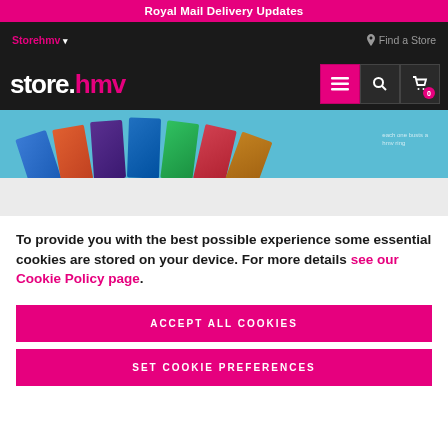Royal Mail Delivery Updates
Storehmv ▾  Find a Store
store.hmv
[Figure (photo): Product image strip showing multiple DVD/Blu-ray cases fanned out on a light blue background]
To provide you with the best possible experience some essential cookies are stored on your device. For more details see our Cookie Policy page.
ACCEPT ALL COOKIES
SET COOKIE PREFERENCES